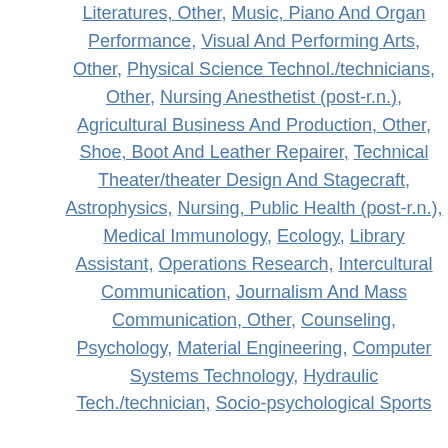Literatures, Other, Music, Piano And Organ Performance, Visual And Performing Arts, Other, Physical Science Technol./technicians, Other, Nursing Anesthetist (post-r.n.), Agricultural Business And Production, Other, Shoe, Boot And Leather Repairer, Technical Theater/theater Design And Stagecraft, Astrophysics, Nursing, Public Health (post-r.n.), Medical Immunology, Ecology, Library Assistant, Operations Research, Intercultural Communication, Journalism And Mass Communication, Other, Counseling, Psychology, Material Engineering, Computer Systems Technology, Hydraulic Tech./technician, Socio-psychological Sports